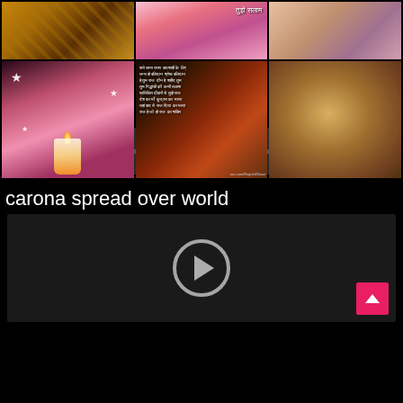[Figure (screenshot): A 2x3 grid of religious/devotional video thumbnails. Top row: golden decorative pattern, animated couple (pink background), woman with pink veil. Bottom row: candle with pink flower and stars, Sikh Guru with Hindi text overlay, Hindu deity (Krishna/Vishnu figure).]
[Figure (screenshot): Audio player bar with play button showing 00:00 time stamp on both left and right, and an empty progress bar in dark grey background.]
carona spread over world
[Figure (screenshot): Dark video player with circular grey play button in center and a pink/red scroll-up arrow button at bottom right corner.]